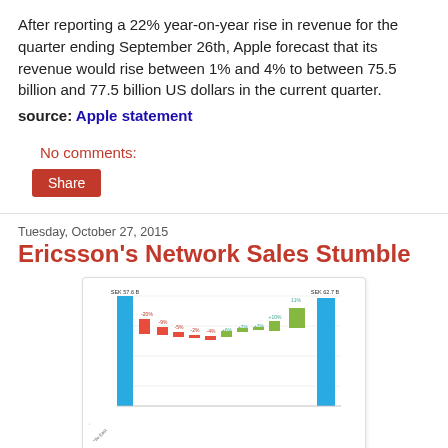After reporting a 22% year-on-year rise in revenue for the quarter ending September 26th, Apple forecast that its revenue would rise between 1% and 4% to between 75.5 billion and 77.5 billion US dollars in the current quarter. source: Apple statement
No comments:
Share
Tuesday, October 27, 2015
Ericsson's Network Sales Stumble
[Figure (waterfall-chart): Waterfall chart showing Ericsson network sales broken down by component, with a large blue starting bar (SEK 57.6 B), several small red negative bars, small green positive bars, and a final blue total bar (SEK 62.7 B). Caption: Growth driven by currency – adjusted sales down 9%.]